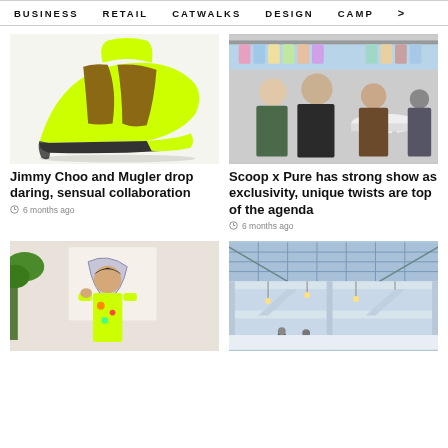BUSINESS   RETAIL   CATWALKS   DESIGN   CAMP >
[Figure (photo): Neon yellow and brown striped high-heel boot by Jimmy Choo x Mugler]
Jimmy Choo and Mugler drop daring, sensual collaboration
6 months ago
[Figure (photo): Crowd of people browsing clothing at Scoop x Pure trade show]
Scoop x Pure has strong show as exclusivity, unique twists are top of the agenda
6 months ago
[Figure (photo): Fashion model in neon yellow outfit with floral embroidery against art background]
[Figure (photo): Modern retail interior with glass ceiling and escalators]